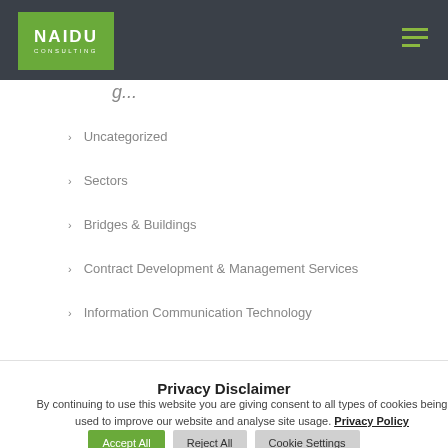[Figure (logo): Naidu Consulting logo - green rectangle with white NAIDU CONSULTING text, on dark grey navigation bar with hamburger menu icon]
g...
Uncategorized
Sectors
Bridges & Buildings
Contract Development & Management Services
Information Communication Technology
Privacy Disclaimer
By continuing to use this website you are giving consent to all types of cookies being used to improve our website and analyse site usage. Privacy Policy
Accept All   Reject All   Cookie Settings